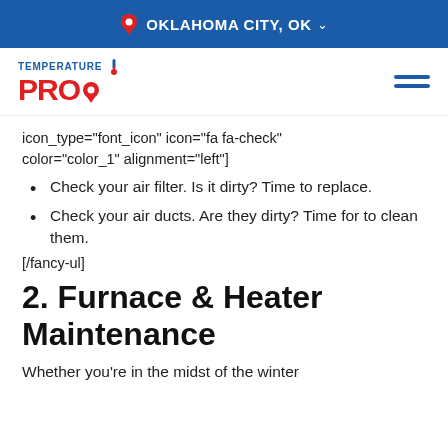OKLAHOMA CITY, OK
[Figure (logo): TemperaturePro logo with thermometer icon and hamburger menu icon]
icon_type="font_icon" icon="fa fa-check" color="color_1" alignment="left"]
Check your air filter. Is it dirty? Time to replace.
Check your air ducts. Are they dirty? Time for to clean them.
[/fancy-ul]
2. Furnace & Heater Maintenance
Whether you're in the midst of the winter